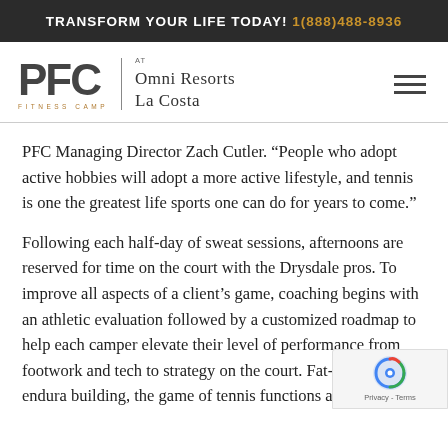TRANSFORM YOUR LIFE TODAY! 1(888)488-8936
[Figure (logo): PFC Fitness Camp at Omni Resorts La Costa logo with hamburger menu icon]
PFC Managing Director Zach Cutler. “People who adopt active hobbies will adopt a more active lifestyle, and tennis is one the greatest life sports one can do for years to come.”
Following each half-day of sweat sessions, afternoons are reserved for time on the court with the Drysdale pros. To improve all aspects of a client’s game, coaching begins with an athletic evaluation followed by a customized roadmap to help each camper elevate their level of performance from footwork and tech to strategy on the court. Fat-scorching and endura building, the game of tennis functions as both a fun